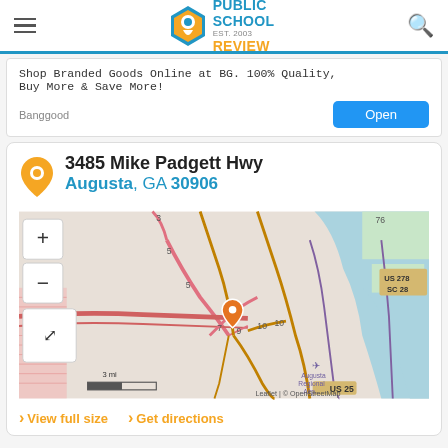Public School Review EST. 2003
[Figure (screenshot): Advertisement banner: Shop Branded Goods Online at BG. 100% Quality, Buy More & Save More! Banggood Open button]
3485 Mike Padgett Hwy
Augusta, GA 30906
[Figure (map): OpenStreetMap showing location pin at 3485 Mike Padgett Hwy, Augusta GA 30906. Map shows roads, Augusta Regional Airport, US 278/SC 28, US 25 markers, and a 3 mi scale bar. Leaflet | © OpenStreetMap attribution.]
View full size
Get directions